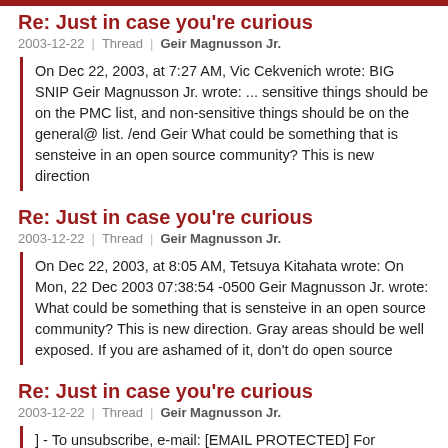Re: Just in case you're curious
2003-12-22 | Thread | Geir Magnusson Jr.
On Dec 22, 2003, at 7:27 AM, Vic Cekvenich wrote: BIG SNIP Geir Magnusson Jr. wrote: ... sensitive things should be on the PMC list, and non-sensitive things should be on the general@ list. /end Geir What could be something that is sensteive in an open source community? This is new direction
Re: Just in case you're curious
2003-12-22 | Thread | Geir Magnusson Jr.
On Dec 22, 2003, at 8:05 AM, Tetsuya Kitahata wrote: On Mon, 22 Dec 2003 07:38:54 -0500 Geir Magnusson Jr. wrote: What could be something that is sensteive in an open source community? This is new direction. Gray areas should be well exposed. If you are ashamed of it, don't do open source
Re: Just in case you're curious
2003-12-22 | Thread | Geir Magnusson Jr.
] - To unsubscribe, e-mail: [EMAIL PROTECTED] For additional commands, e-mail: [EMAIL PROTECTED] -- Geir